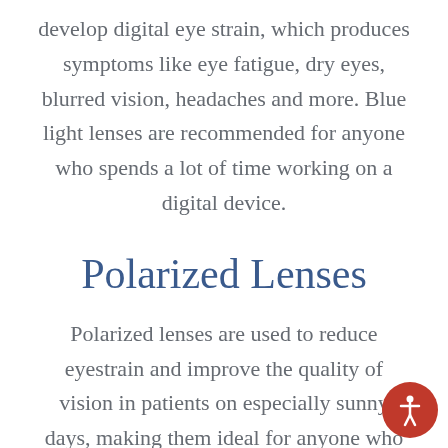develop digital eye strain, which produces symptoms like eye fatigue, dry eyes, blurred vision, headaches and more. Blue light lenses are recommended for anyone who spends a lot of time working on a digital device.
Polarized Lenses
Polarized lenses are used to reduce eyestrain and improve the quality of vision in patients on especially sunny days, making them ideal for anyone who spends a lot of time outdoors. They can do this